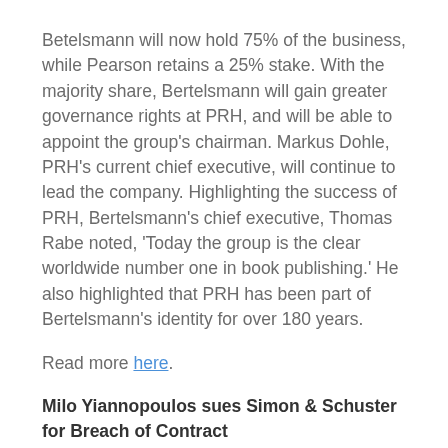Betelsmann will now hold 75% of the business, while Pearson retains a 25% stake. With the majority share, Bertelsmann will gain greater governance rights at PRH, and will be able to appoint the group's chairman. Markus Dohle, PRH's current chief executive, will continue to lead the company. Highlighting the success of PRH, Bertelsmann's chief executive, Thomas Rabe noted, 'Today the group is the clear worldwide number one in book publishing.' He also highlighted that PRH has been part of Bertelsmann's identity for over 180 years.
Read more here.
Milo Yiannopoulos sues Simon & Schuster for Breach of Contract